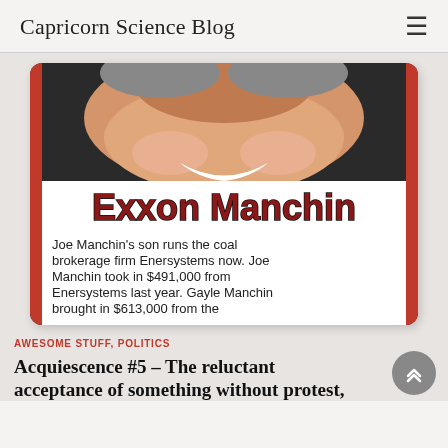Capricorn Science Blog
[Figure (illustration): Meme image with caricature of Joe Manchin smiling, title text 'Exxon Manchin' in large bold dark red lettering, and caption text: 'Joe Manchin's son runs the coal brokerage firm Enersystems now. Joe Manchin took in $491,000 from Enersystems last year. Gayle Manchin brought in $613,000 from the']
AWESOME STUFF, POLITICS
Acquiescence #5 – The reluctant acceptance of something without protest,